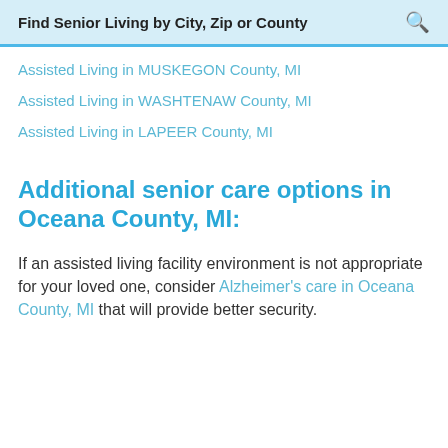Find Senior Living by City, Zip or County
Assisted Living in MUSKEGON County, MI
Assisted Living in WASHTENAW County, MI
Assisted Living in LAPEER County, MI
Additional senior care options in Oceana County, MI:
If an assisted living facility environment is not appropriate for your loved one, consider Alzheimer's care in Oceana County, MI that will provide better security.